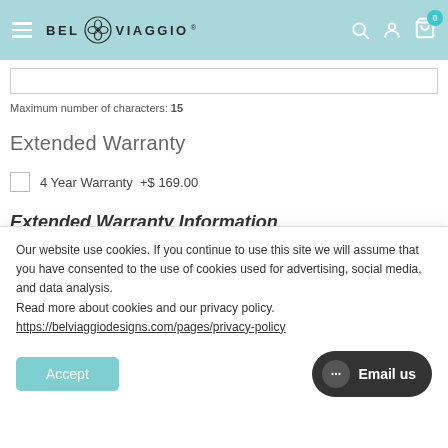BEL VIAGGIO
Maximum number of characters: 15
Extended Warranty
4 Year Warranty  +$ 169.00
Extended Warranty Information
$ 2,045  $ 1,522
Our website use cookies. If you continue to use this site we will assume that you have consented to the use of cookies used for advertising, social media, and data analysis.
Read more about cookies and our privacy policy. https://belviaggiodesigns.com/pages/privacy-policy
Accept
Email us